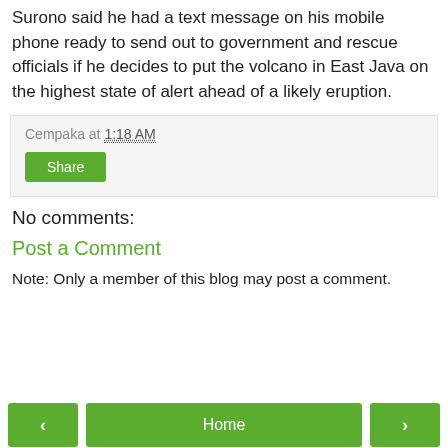Surono said he had a text message on his mobile phone ready to send out to government and rescue officials if he decides to put the volcano in East Java on the highest state of alert ahead of a likely eruption.
Cempaka at 1:18 AM
Share
No comments:
Post a Comment
Note: Only a member of this blog may post a comment.
‹  Home  ›